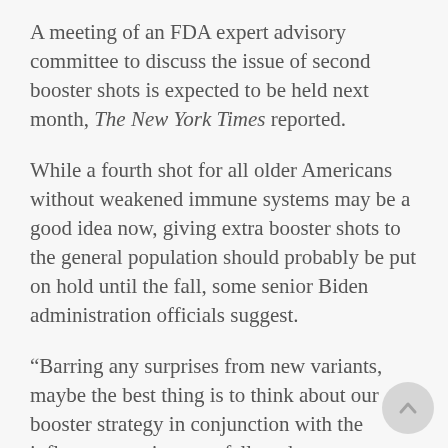A meeting of an FDA expert advisory committee to discuss the issue of second booster shots is expected to be held next month, The New York Times reported.
While a fourth shot for all older Americans without weakened immune systems may be a good idea now, giving extra booster shots to the general population should probably be put on hold until the fall, some senior Biden administration officials suggest.
“Barring any surprises from new variants, maybe the best thing is to think about our booster strategy in conjunction with the influenza vaccine next fall, and get as many people as possible boosted then,” Dr. Peter Marks, the FDA’s top vaccine regulator, told the Times last month.
Any recommendation on a second booster shot would likely be...